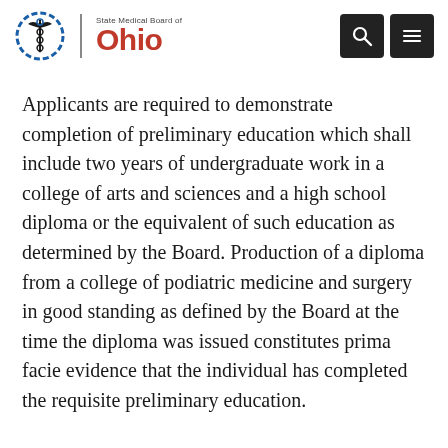State Medical Board of Ohio
Applicants are required to demonstrate completion of preliminary education which shall include two years of undergraduate work in a college of arts and sciences and a high school diploma or the equivalent of such education as determined by the Board. Production of a diploma from a college of podiatric medicine and surgery in good standing as defined by the Board at the time the diploma was issued constitutes prima facie evidence that the individual has completed the requisite preliminary education.